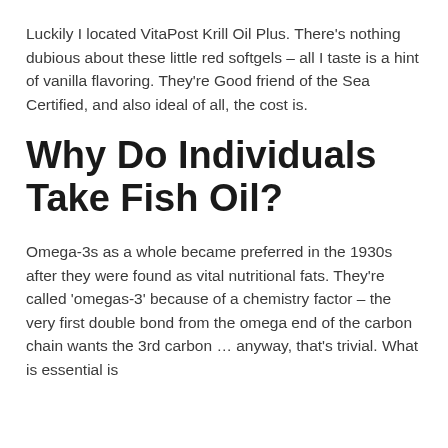Luckily I located VitaPost Krill Oil Plus. There's nothing dubious about these little red softgels – all I taste is a hint of vanilla flavoring. They're Good friend of the Sea Certified, and also ideal of all, the cost is.
Why Do Individuals Take Fish Oil?
Omega-3s as a whole became preferred in the 1930s after they were found as vital nutritional fats. They're called 'omegas-3' because of a chemistry factor – the very first double bond from the omega end of the carbon chain wants the 3rd carbon … anyway, that's trivial. What is essential is